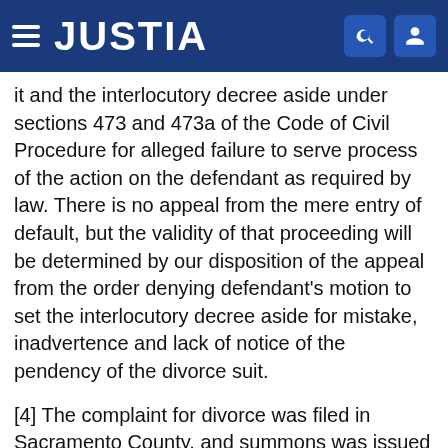JUSTIA
it and the interlocutory decree aside under sections 473 and 473a of the Code of Civil Procedure for alleged failure to serve process of the action on the defendant as required by law. There is no appeal from the mere entry of default, but the validity of that proceeding will be determined by our disposition of the appeal from the order denying defendant's motion to set the interlocutory decree aside for mistake, inadvertence and lack of notice of the pendency of the divorce suit.
[4] The complaint for divorce was filed in Sacramento County, and summons was issued on October 6, 1944. Affidavit of service of process on the defendant was filed. The default of the defendant for failure to appear or answer the complaint was duly entered November 20, 1944. The interlocutory decree of divorce was entered the following day. The motion to set aside the default